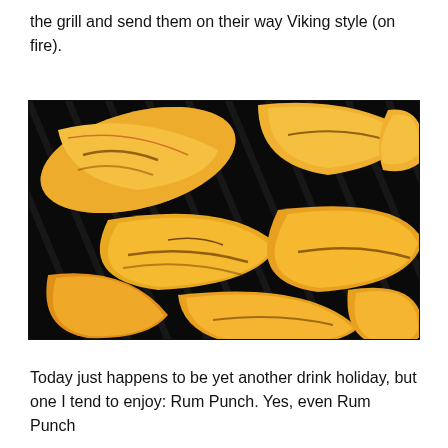the grill and send them on their way Viking style (on fire).
[Figure (photo): Peach slices grilling on a dark grill grate, showing grill marks on the golden-orange fruit pieces arranged across the grates.]
Today just happens to be yet another drink holiday, but one I tend to enjoy: Rum Punch. Yes, even Rum Punch